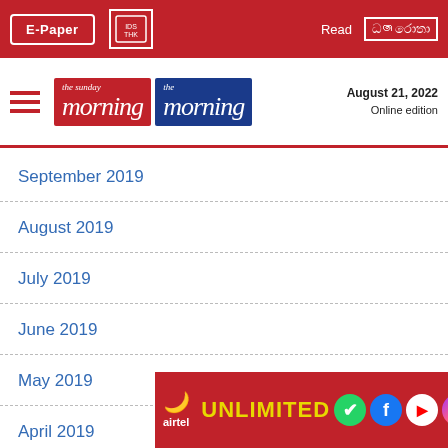E-Paper | The Morning | Read [Sinhala logo] | August 21, 2022 Online edition
September 2019
August 2019
July 2019
June 2019
May 2019
April 2019
March 2019
February 2019
January 2019
December
Novemb…
[Figure (advertisement): Airtel UNLIMITED ad banner with social media icons (WhatsApp, Facebook, YouTube, Messenger)]